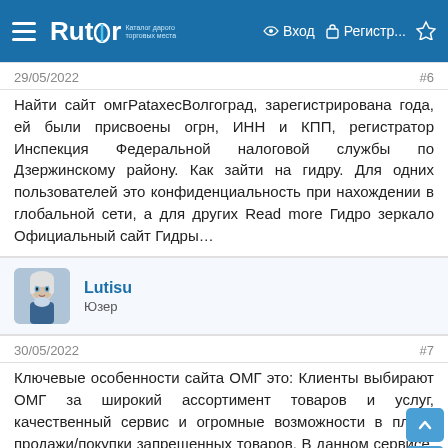Rutor — Вход — Регистр...
29/05/2022   #6
Найти сайт омгPataxecВолгоград, зарегистрирована года, ей были присвоены огрн, ИНН и КПП, регистратор Инспекция Федеральной налоговой службы по Дзержинскому району. Как зайти на гидру. Для одних пользователей это конфиденциальность при нахождении в глобальной сети, а для других Read more Гидро зеркало Официальный сайт Гидры…
Lutisu
Юзер
30/05/2022   #7
Ключевые особенности сайта ОМГ это: Клиенты выбирают ОМГ за широкий ассортимент товаров и услуг, качественный сервис и огромные возможности в плане продажи/покупки запрещенных товаров. В данном сервисе, данные клиентов